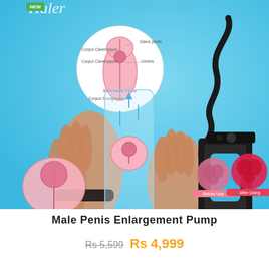[Figure (photo): Product photo of a male penis enlargement pump device on a blue background. Shows the clear cylindrical pump with black fittings and flexible hose, held by hands demonstrating use. Includes anatomical schematic inset diagram in top left, and before/after comparison icons in bottom right. Small product logo/brand text visible top left.]
Male Penis Enlargement Pump
Rs 5,599  Rs 4,999